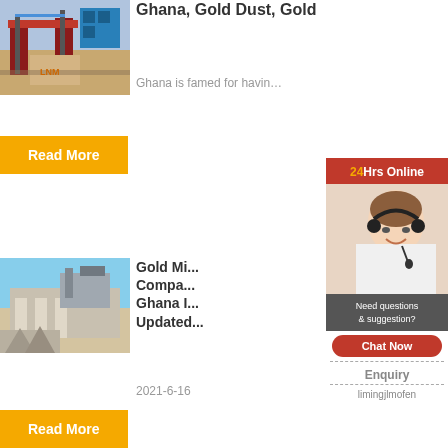[Figure (photo): Construction site with industrial machinery and scaffolding]
Ghana, Gold Dust, Gold
Ghana is famed for havin…
Read More
[Figure (photo): Customer service representative with headset - 24Hrs Online widget]
[Figure (photo): Demolition or mining site with machinery]
Gold Mi... Compa... Ghana I... Updated...
2021-6-16
Need questions & suggestion?
Chat Now
Enquiry
limingjlmofen
Read More